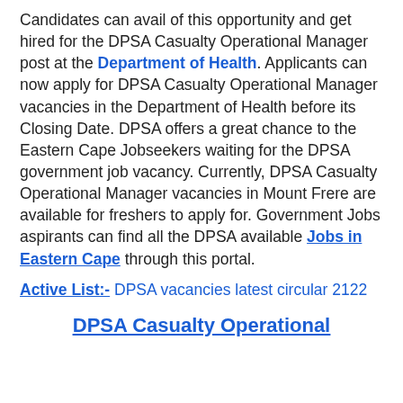Candidates can avail of this opportunity and get hired for the DPSA Casualty Operational Manager post at the Department of Health. Applicants can now apply for DPSA Casualty Operational Manager vacancies in the Department of Health before its Closing Date. DPSA offers a great chance to the Eastern Cape Jobseekers waiting for the DPSA government job vacancy. Currently, DPSA Casualty Operational Manager vacancies in Mount Frere are available for freshers to apply for. Government Jobs aspirants can find all the DPSA available Jobs in Eastern Cape through this portal.
Active List:- DPSA vacancies latest circular 2122
DPSA Casualty Operational